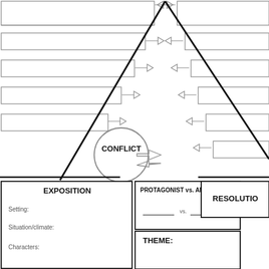[Figure (flowchart): Story structure graphic organizer showing a plot mountain/triangle with CONFLICT circle at center, arrows pointing up from left (rising action) and down from right (falling action), with sections for EXPOSITION (Setting, Situation/climate, Characters), PROTAGONIST vs. ANTAGONIST with vs. fill-in, THEME, and RESOLUTION partially visible.]